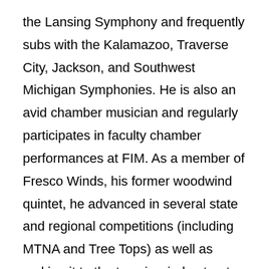the Lansing Symphony and frequently subs with the Kalamazoo, Traverse City, Jackson, and Southwest Michigan Symphonies. He is also an avid chamber musician and regularly participates in faculty chamber performances at FIM. As a member of Fresco Winds, his former woodwind quintet, he advanced in several state and regional competitions (including MTNA and Tree Tops) as well as making it to the top six wind entrants in the Fischoff National Chamber Music Competition. As a soloist, he has advanced